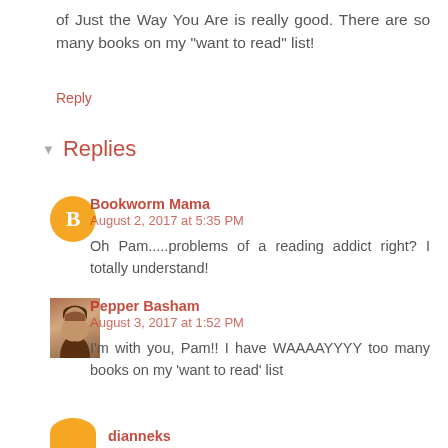of Just the Way You Are is really good. There are so many books on my "want to read" list!
Reply
Replies
Bookworm Mama
August 2, 2017 at 5:35 PM
Oh Pam.....problems of a reading addict right? I totally understand!
Pepper Basham
August 3, 2017 at 1:52 PM
I'm with you, Pam!! I have WAAAAYYYY too many books on my 'want to read' list
dianneks